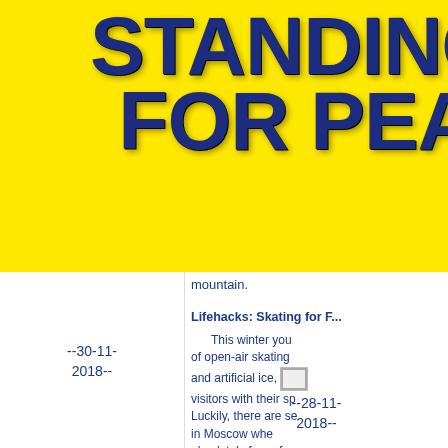STANDING FOR PEACE
mountain.
--30-11-2018--
Lifehacks: Skating for F...
This winter you of open-air skating and artificial ice, visitors with their sp Luckily, there are se in Moscow wh absolutely free of c in our article.
[Figure (photo): Small broken image placeholder]
--28-11-2018--